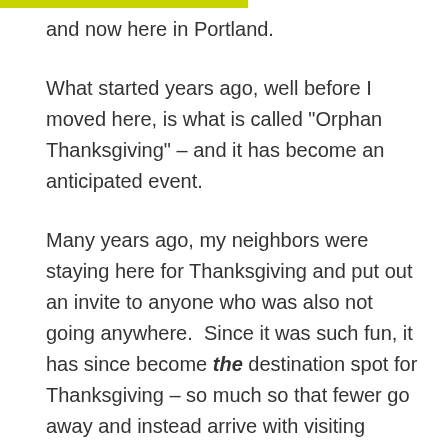and now here in Portland.
What started years ago, well before I moved here, is what is called "Orphan Thanksgiving" – and it has become an anticipated event.
Many years ago, my neighbors were staying here for Thanksgiving and put out an invite to anyone who was also not going anywhere.  Since it was such fun, it has since become the destination spot for Thanksgiving – so much so that fewer go away and instead arrive with visiting family and friends.
As we are a small neighborhood most everyone